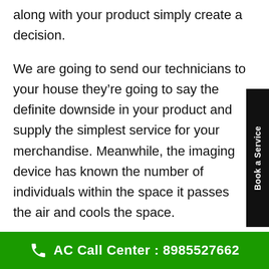along with your product simply create a decision.
We are going to send our technicians to your house they're going to say the definite downside in your product and supply the simplest service for your merchandise. Meanwhile, the imaging device has known the number of individuals within the space it passes the air and cools the space.
4D flow with a wider angle and enormous fan:
AC Call Center : 8985527662